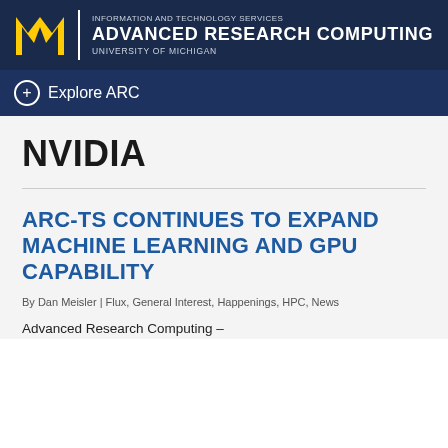[Figure (logo): University of Michigan block M logo in yellow/gold on dark navy background, next to 'INFORMATION AND TECHNOLOGY SERVICES / ADVANCED RESEARCH COMPUTING / UNIVERSITY OF MICHIGAN' text in white]
Explore ARC
NVIDIA
ARC-TS CONTINUES TO EXPAND MACHINE LEARNING AND GPU CAPABILITY
By Dan Meisler | Flux, General Interest, Happenings, HPC, News
Advanced Research Computing –